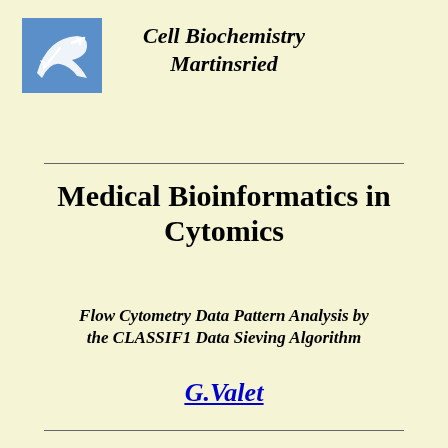[Figure (logo): Blue square logo with white arrow/fish symbol representing Cell Biochemistry Martinsried]
Cell Biochemistry Martinsried
Medical Bioinformatics in Cytomics
Flow Cytometry Data Pattern Analysis by the CLASSIF1 Data Sieving Algorithm
G.Valet